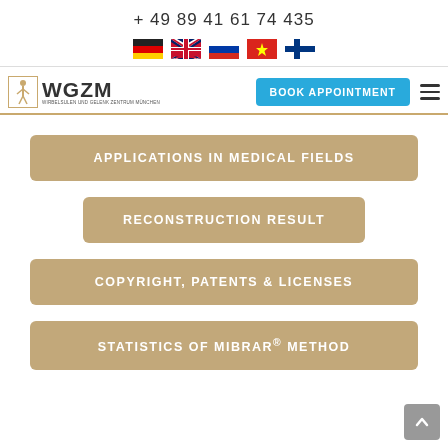+ 49 89 41 61 74 435
[Figure (other): Row of five country flag icons: Germany, UK, Russia, Vietnam, Finland]
[Figure (logo): WGZM logo with stylized figure icon and text WGZM, subtitle WIRBELSULEN UND GELENK ZENTRUM MÜNCHEN]
BOOK APPOINTMENT
APPLICATIONS IN MEDICAL FIELDS
RECONSTRUCTION RESULT
COPYRIGHT, PATENTS & LICENSES
STATISTICS OF MIBRAR® METHOD